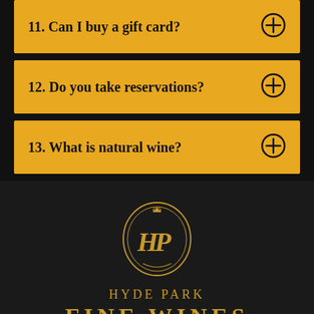11. Can I buy a gift card?
12. Do you take reservations?
13. What is natural wine?
[Figure (logo): Hyde Park Fine Wines logo: oval border with HP monogram and crown, gold on dark background]
HYDE PARK
FINE WINES